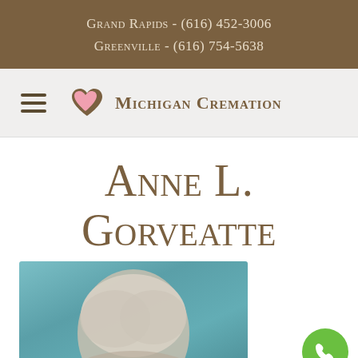Grand Rapids - (616) 452-3006
Greenville - (616) 754-5638
Michigan Cremation
Anne L. Gorveatte
[Figure (photo): Portrait photo of Anne L. Gorveatte, an elderly woman with white/silver hair, against a teal/blue background. A green phone button is visible in the lower right corner of the page.]